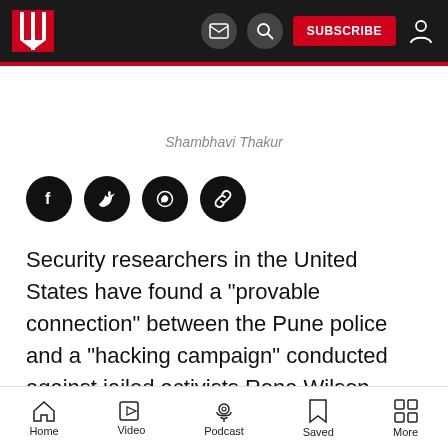Navigation bar with logo, mail icon, search icon, SUBSCRIBE button, user icon
Shambhavi Thakur
[Figure (other): Social sharing icons: Facebook, Twitter, WhatsApp, Link]
Security researchers in the United States have found a "provable connection" between the Pune police and a "hacking campaign" conducted against jailed activists Rona Wilson,
Home  Video  Podcast  Saved  More